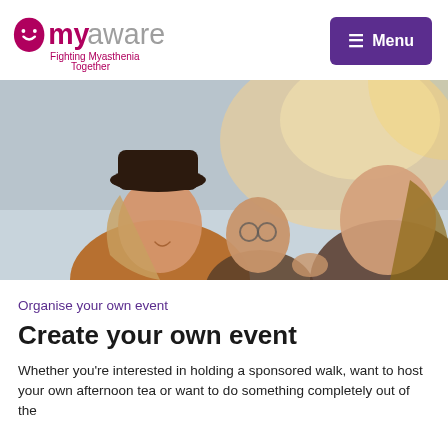myaware – Fighting Myasthenia Together | Menu
[Figure (photo): Three women laughing together outdoors, golden backlit photo]
Organise your own event
Create your own event
Whether you're interested in holding a sponsored walk, want to host your own afternoon tea or want to do something completely out of the